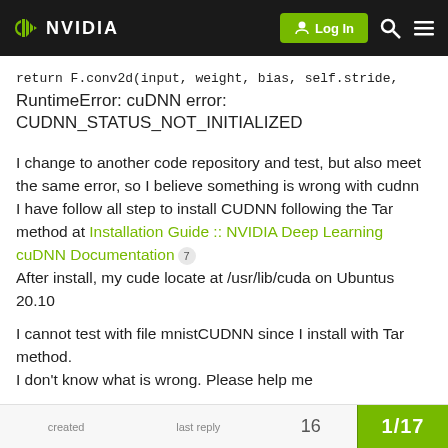NVIDIA Forums navigation bar with Log In button
return F.conv2d(input, weight, bias, self.stride,
RuntimeError: cuDNN error: CUDNN_STATUS_NOT_INITIALIZED
I change to another code repository and test, but also meet the same error, so I believe something is wrong with cudnn
I have follow all step to install CUDNN following the Tar method at Installation Guide :: NVIDIA Deep Learning cuDNN Documentation 7
After install, my cude locate at /usr/lib/cuda on Ubuntus 20.10
I cannot test with file mnistCUDNN since I install with Tar method.
I don't know what is wrong. Please help me
created   last reply   16   1/17